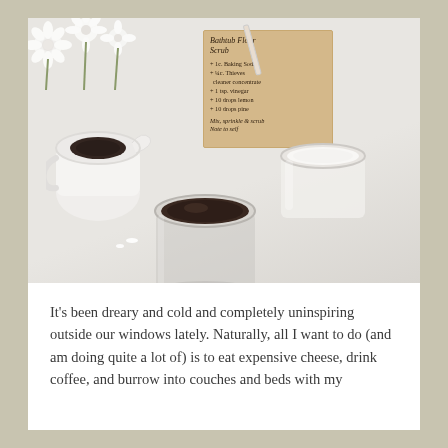[Figure (photo): Overhead flat-lay photo on a white surface showing: white flowers (ranunculus) in top-left corner, a handwritten recipe card titled 'Bathtub Floor Scrub' with ingredients listed (1c. Baking Soda, 1/4c. Thieves cleaner concentrate, 1 tsp. vinegar, 10 drops lemon, 10 drops pine, mix, sprinkle & scrub, Note to self), a white ceramic pitcher/jug with a dark brown circular opening, an open glass jar with white coconut oil or cream, and an open wide-mouth glass jar with dark brown contents (likely a scrub mixture).]
It's been dreary and cold and completely uninspiring outside our windows lately. Naturally, all I want to do (and am doing quite a lot of) is to eat expensive cheese, drink coffee, and burrow into couches and beds with my